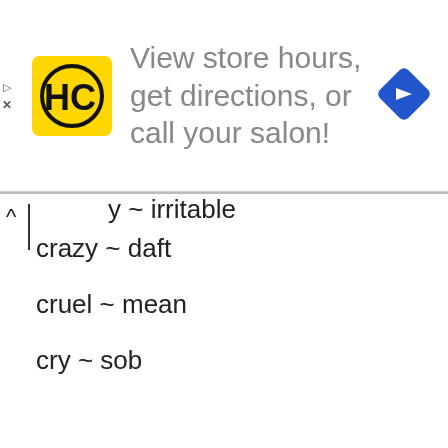[Figure (infographic): Advertisement banner: HC salon logo (yellow square with HC letters), text 'View store hours, get directions, or call your salon!', and a blue navigation diamond icon on the right.]
y ~ irritable
crazy ~ daft
cruel ~ mean
cry ~ sob